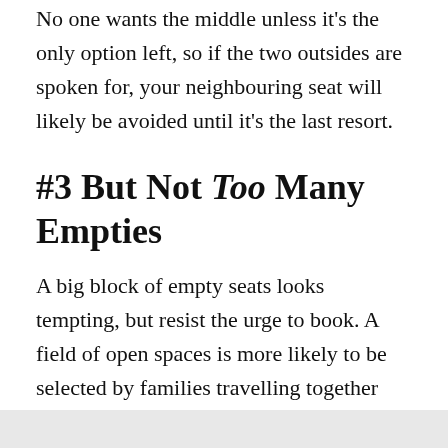No one wants the middle unless it's the only option left, so if the two outsides are spoken for, your neighbouring seat will likely be avoided until it's the last resort.
#3 But Not Too Many Empties
A big block of empty seats looks tempting, but resist the urge to book. A field of open spaces is more likely to be selected by families travelling together and other larger groups. Not only does that lower your chances of winding up with an empty next to you, it also ups your odds of being surrounded by noisy passengers.